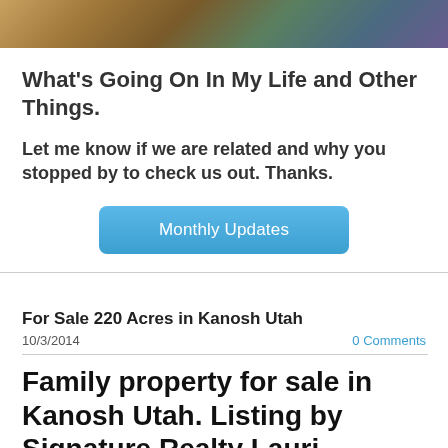[Figure (photo): Decorative banner image at top of page with colorful painted or illustrated background in warm tones]
What's Going On In My Life and Other Things.
Let me know if we are related and why you stopped by to check us out.  Thanks.
[Figure (other): Blue rounded rectangle button labeled Monthly Updates]
For Sale 220 Acres in Kanosh Utah
10/3/2014
0 Comments
Family property for sale in Kanosh Utah.  Listing by Signature Realty Lauri Mathews Realtor
[Figure (photo): Partial thumbnail image at bottom of page, mostly obscured]